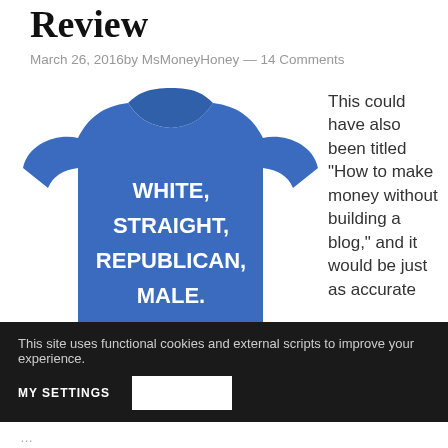Review
March 26, 2016by MsMoneyHoney — 14 Comments
[Figure (photo): A blue t-shirt with white text reading: WHITE, STRAIGHT, REPUBLICAN, MALE. HOW ELSE CAN I PISS YOU OFF TODAY?]
This could have also been titled “How to make money without building a blog,” and it would be just as accurate
This site uses functional cookies and external scripts to improve your experience.
MY SETTINGS
accurate